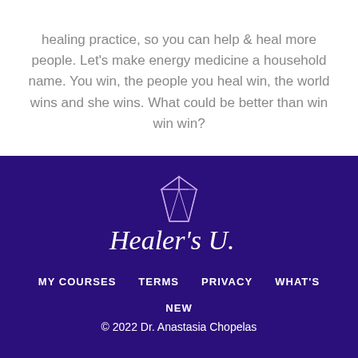healing practice, so you can help & heal more people. Let's make energy medicine a household name. You win, the people you heal win, the world wins and she wins. What could be better than win win win?
[Figure (logo): Healer's U. logo with diamond gem icon above cursive text]
MY COURSES   TERMS   PRIVACY   WHAT'S NEW
© 2022 Dr. Anastasia Chopelas